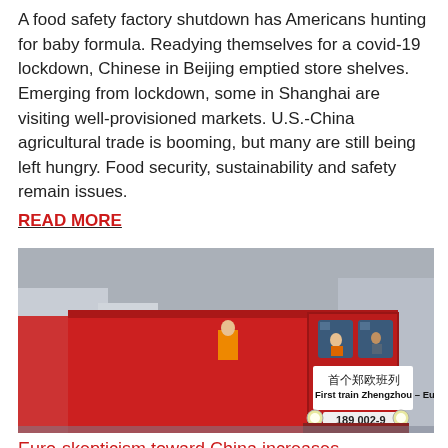A food safety factory shutdown has Americans hunting for baby formula. Readying themselves for a covid-19 lockdown, Chinese in Beijing emptied store shelves. Emerging from lockdown, some in Shanghai are visiting well-provisioned markets. U.S.-China agricultural trade is booming, but many are still being left hungry. Food security, sustainability and safety remain issues. READ MORE
[Figure (photo): A red locomotive/train engine with a sign reading in Chinese characters and English: 'First train Zhengzhou – Europe' and number '189 002-9'. The train appears to be at a railyard or station with cargo containers visible. A sign with 'DUSS' is partially visible in the background.]
Euro-skepticism toward China increases